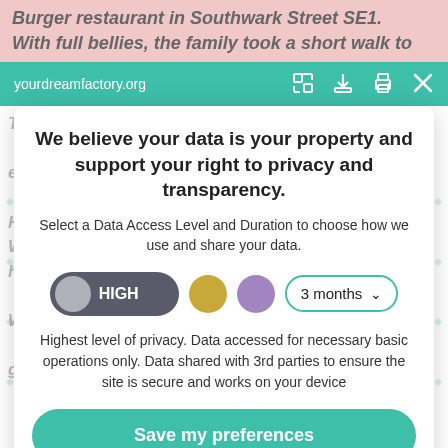Burger restaurant in Southwark Street SE1. With full bellies, the family took a short walk to
yourdreamfactory.org
We believe your data is your property and support your right to privacy and transparency.
Select a Data Access Level and Duration to choose how we use and share your data.
HIGH   3 months
Highest level of privacy. Data accessed for necessary basic operations only. Data shared with 3rd parties to ensure the site is secure and works on your device
Save my preferences
Customize